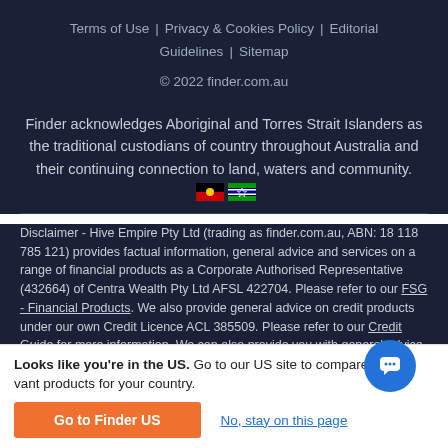Terms of Use | Privacy & Cookies Policy | Editorial Guidelines | Sitemap
© 2022 finder.com.au
Finder acknowledges Aboriginal and Torres Strait Islanders as the traditional custodians of country throughout Australia and their continuing connection to land, waters and community.
Disclaimer - Hive Empire Pty Ltd (trading as finder.com.au, ABN: 18 118 785 121) provides factual information, general advice and services on a range of financial products as a Corporate Authorised Representative (432664) of Centra Wealth Pty Ltd AFSL 422704. Please refer to our FSG - Financial Products. We also provide general advice on credit products under our own Credit Licence ACL 385509. Please refer to our Credit Guide for more information. We can also provide you with general advice and factual information on about a range of other products, services and providers. We are also a Corporate Authorised Representative of Countrywide Insurance
Looks like you're in the US. Go to our US site to compare relevant products for your country.
Go to Finder US
No, stay on this page